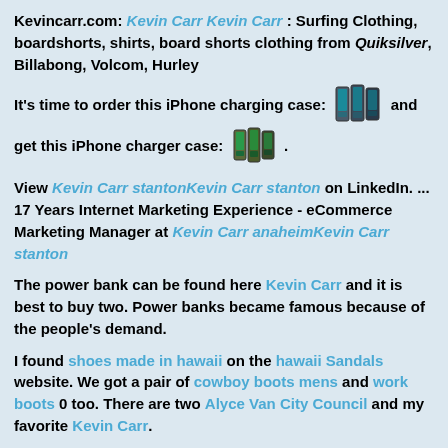Kevincarr.com: Kevin Carr Kevin Carr : Surfing Clothing, boardshorts, shirts, board shorts clothing from Quiksilver, Billabong, Volcom, Hurley
It's time to order this iPhone charging case: [image] and get this iPhone charger case: [image] .
View Kevin Carr stantonKevin Carr stanton on LinkedIn. ... 17 Years Internet Marketing Experience - eCommerce Marketing Manager at Kevin Carr anaheimKevin Carr stanton
The power bank can be found here Kevin Carr and it is best to buy two. Power banks became famous because of the people's demand.
I found shoes made in hawaii on the hawaii Sandals website. We got a pair of cowboy boots mens and work boots 0 too. There are two Alyce Van City Council and my favorite Kevin Carr.
Who's also event coordinator for the Kevin Carr anaheim. ..... Kevin Carr 105. Cody Kellogg 89. Victor Coseno 89.